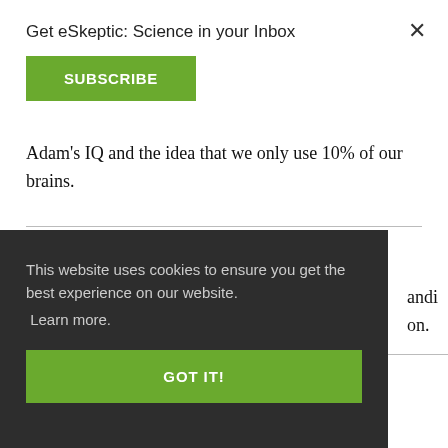Get eSkeptic: Science in your Inbox
SUBSCRIBE
×
Adam's IQ and the idea that we only use 10% of our brains.
This website uses cookies to ensure you get the best experience on our website. Learn more.
GOT IT!
andi
on.